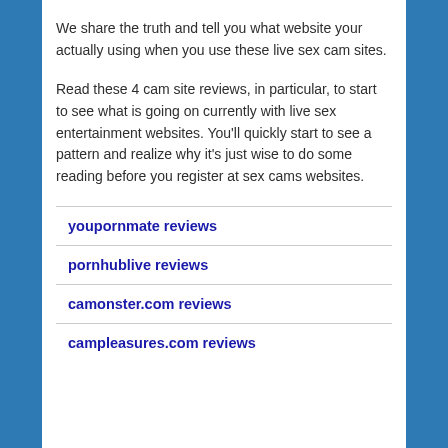We share the truth and tell you what website your actually using when you use these live sex cam sites.
Read these 4 cam site reviews, in particular, to start to see what is going on currently with live sex entertainment websites. You'll quickly start to see a pattern and realize why it's just wise to do some reading before you register at sex cams websites.
youpornmate reviews
pornhublive reviews
camonster.com reviews
campleasures.com reviews